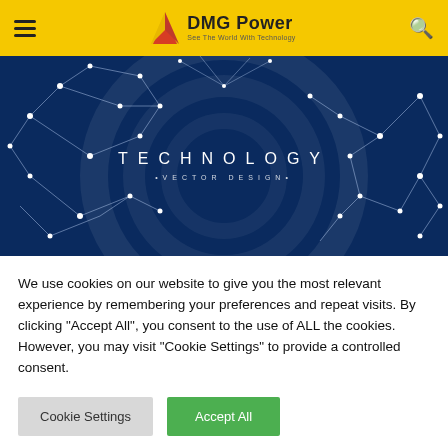DMG Power — See The World With Technology
[Figure (illustration): Dark blue technology network globe illustration with white connected nodes and lines, text 'TECHNOLOGY • VECTOR DESIGN •' centered, with watermark spiral pattern]
We use cookies on our website to give you the most relevant experience by remembering your preferences and repeat visits. By clicking "Accept All", you consent to the use of ALL the cookies. However, you may visit "Cookie Settings" to provide a controlled consent.
Cookie Settings | Accept All